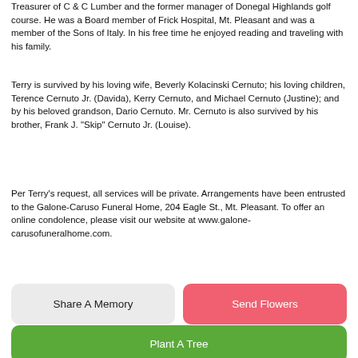Treasurer of C & C Lumber and the former manager of Donegal Highlands golf course. He was a Board member of Frick Hospital, Mt. Pleasant and was a member of the Sons of Italy. In his free time he enjoyed reading and traveling with his family.
Terry is survived by his loving wife, Beverly Kolacinski Cernuto; his loving children, Terence Cernuto Jr. (Davida), Kerry Cernuto, and Michael Cernuto (Justine); and by his beloved grandson, Dario Cernuto. Mr. Cernuto is also survived by his brother, Frank J. "Skip" Cernuto Jr. (Louise).
Per Terry's request, all services will be private. Arrangements have been entrusted to the Galone-Caruso Funeral Home, 204 Eagle St., Mt. Pleasant. To offer an online condolence, please visit our website at www.galone-carusofuneralhome.com.
Share A Memory
Send Flowers
Plant A Tree